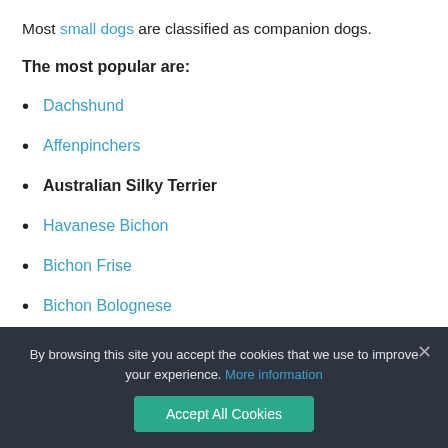Most small dogs are classified as companion dogs.
The most popular are:
Dachshund
Affenpinchers
Australian Silky Terrier
Havanese Bichon
Bichon Frise
Bichon Bolognese
Pug
By browsing this site you accept the cookies that we use to improve your experience. More information
Accept All Cookies